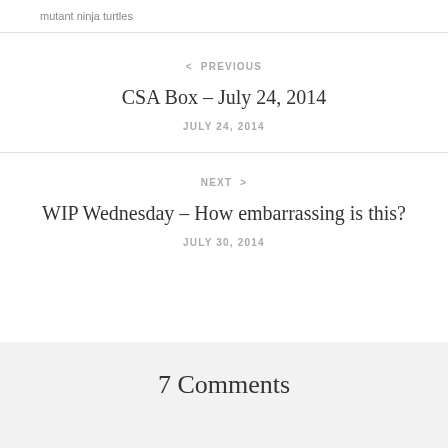mutant ninja turtles
< PREVIOUS
CSA Box – July 24, 2014
JULY 24, 2014
NEXT >
WIP Wednesday – How embarrassing is this?
JULY 30, 2014
7 Comments